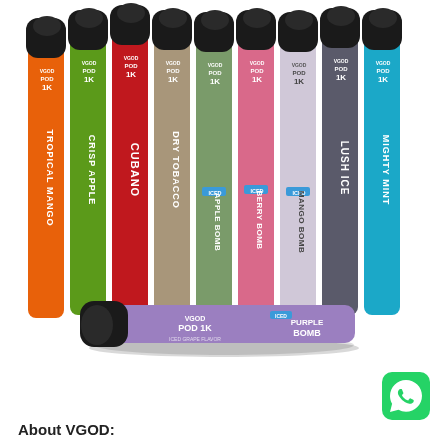[Figure (photo): Product photo showing 9 VGOD POD 1K disposable vape devices standing upright in various colors (orange, green, red, tan/brown, olive green, pink, lavender/white, gray, cyan/blue), each labeled with different flavors (Tropical Mango, Crisp Apple, Cubano, Dry Tobacco, Iced Apple Bomb, Iced Berry Bomb, Iced Mango Bomb, Lush Ice, Mighty Mint), plus one purple/lavender device lying horizontally in the foreground labeled 'Iced Purple Bomb'.]
[Figure (logo): WhatsApp logo icon — green rounded square with white phone handset inside speech bubble]
About VGOD: